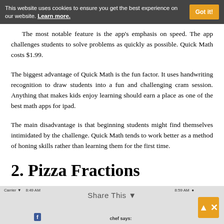This website uses cookies to ensure you get the best experience on our website. Learn more.
This includes addition, subtraction, multiplication and division. The most notable feature is the app's emphasis on speed. The app challenges students to solve problems as quickly as possible. Quick Math costs $1.99.
The biggest advantage of Quick Math is the fun factor. It uses handwriting recognition to draw students into a fun and challenging cram session. Anything that makes kids enjoy learning should earn a place as one of the best math apps for ipad.
The main disadvantage is that beginning students might find themselves intimidated by the challenge. Quick Math tends to work better as a method of honing skills rather than learning them for the first time.
2. Pizza Fractions
Share This